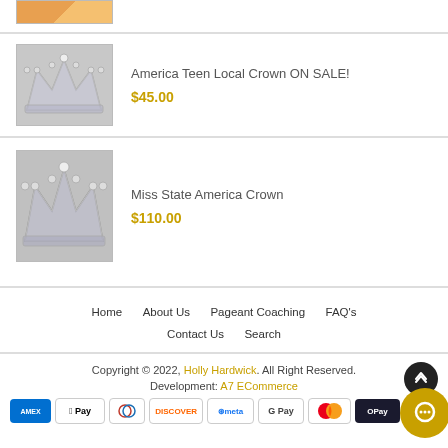[Figure (photo): Partial product image at top, cropped view of orange/gold background with red element]
[Figure (photo): Product image: America Teen Local Crown, silver crystal crown]
America Teen Local Crown ON SALE!
$45.00
[Figure (photo): Product image: Miss State America Crown, silver crystal crown]
Miss State America Crown
$110.00
Home   About Us   Pageant Coaching   FAQ's   Contact Us   Search
Copyright © 2022, Holly Hardwick. All Right Reserved. Development: A7 ECommerce
[Figure (other): Payment method icons: AMEX, Apple Pay, Diners, Discover, Meta Pay, Google Pay, Mastercard, OPay, Visa]